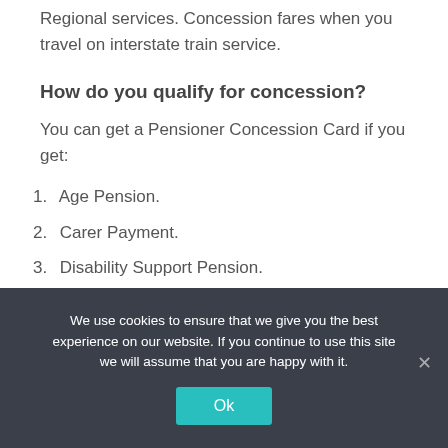Regional services. Concession fares when you travel on interstate train service.
How do you qualify for concession?
You can get a Pensioner Concession Card if you get:
1. Age Pension.
2. Carer Payment.
3. Disability Support Pension.
4. JobSeeker Payment or Youth Allowance – you must be single and caring for a dependent
We use cookies to ensure that we give you the best experience on our website. If you continue to use this site we will assume that you are happy with it.